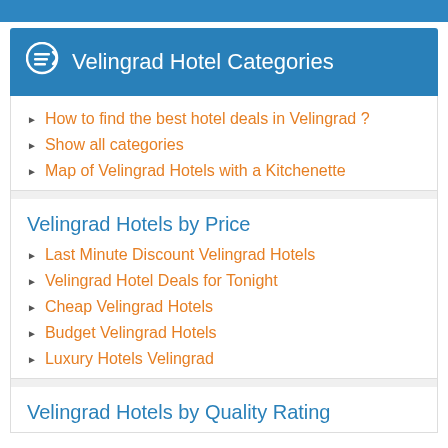Velingrad Hotel Categories
How to find the best hotel deals in Velingrad ?
Show all categories
Map of Velingrad Hotels with a Kitchenette
Velingrad Hotels by Price
Last Minute Discount Velingrad Hotels
Velingrad Hotel Deals for Tonight
Cheap Velingrad Hotels
Budget Velingrad Hotels
Luxury Hotels Velingrad
Velingrad Hotels by Quality Rating